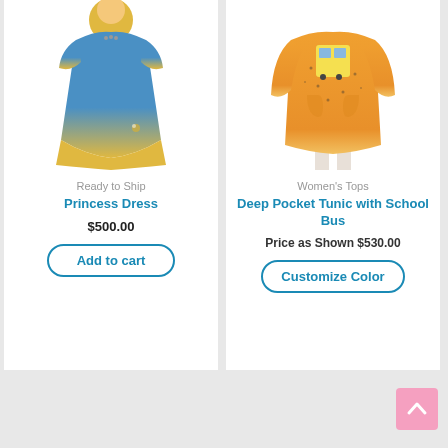[Figure (photo): Blue and yellow tie-dye princess dress on white background]
Ready to Ship
Princess Dress
$500.00
Add to cart
[Figure (photo): Orange long-sleeve deep pocket tunic with school bus graphic on model]
Women's Tops
Deep Pocket Tunic with School Bus
Price as Shown $530.00
Customize Color